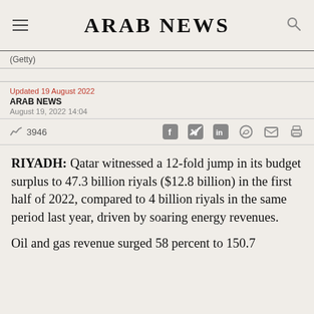ARAB NEWS
(Getty)
Updated 19 August 2022
ARAB NEWS
August 19, 2022 14:04
3946
RIYADH: Qatar witnessed a 12-fold jump in its budget surplus to 47.3 billion riyals ($12.8 billion) in the first half of 2022, compared to 4 billion riyals in the same period last year, driven by soaring energy revenues.
Oil and gas revenue surged 58 percent to 150.7